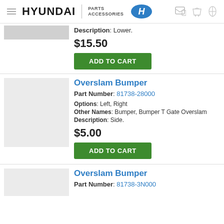HYUNDAI PARTS ACCESSORIES
Description: Lower.
$15.50
ADD TO CART
Overslam Bumper
Part Number: 81738-28000
Options: Left, Right
Other Names: Bumper, Bumper T Gate Overslam
Description: Side.
$5.00
ADD TO CART
Overslam Bumper
Part Number: 81738-3N000